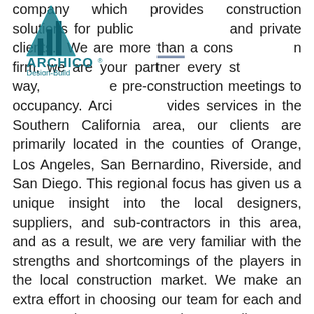[Figure (logo): Archico Design-Build company logo: a teal/blue geometric triangle with bar chart shapes inside, with the text 'ARCHICO' in teal and 'Design-Build' below in smaller text]
company which provides construction solutions for public and private clients. We are more than a construction firm, we are your partner every step of the way, from pre-construction meetings to occupancy. Archico provides services in the Southern California area, our clients are primarily located in the counties of Orange, Los Angeles, San Bernardino, Riverside, and San Diego. This regional focus has given us a unique insight into the local designers, suppliers, and sub-contractors in this area, and as a result, we are very familiar with the strengths and shortcomings of the players in the local construction market. We make an extra effort in choosing our team for each and every project, to ensure that our clients are receiving the best from qualified industry professionals. Each member of our professional team brings to the table a unique project background, supporting each job based on their experience and knowledge. From tenant improvement to ground-up construction, Archico management will